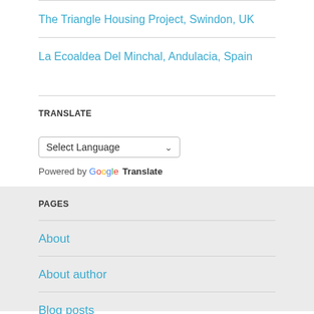The Triangle Housing Project, Swindon, UK
La Ecoaldea Del Minchal, Andulacia, Spain
TRANSLATE
Select Language
Powered by Google Translate
PAGES
About
About author
Blog posts